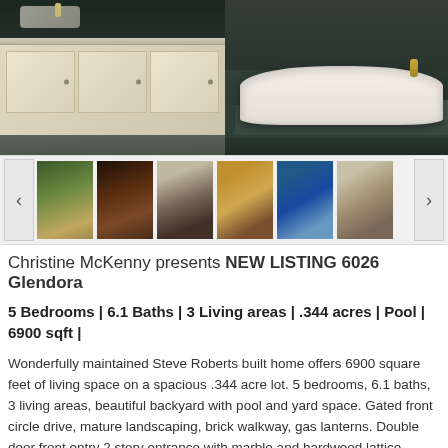[Figure (photo): Luxury bathroom with dark green marble tile floor, white painted wood cabinetry with black countertop on left, and a large soaking tub on raised marble platform on right]
[Figure (photo): Thumbnail strip showing 7 property photos: exterior front, front door entry, staircase, dining/living area, study/library, kitchen, and another interior room]
Christine McKenny presents NEW LISTING 6026 Glendora
5 Bedrooms | 6.1 Baths | 3 Living areas | .344 acres | Pool | 6900 sqft |
Wonderfully maintained Steve Roberts built home offers 6900 square feet of living space on a spacious .344 acre lot. 5 bedrooms, 6.1 baths, 3 living areas, beautiful backyard with pool and yard space. Gated front circle drive, mature landscaping, brick walkway, gas lanterns. Double door front entry 2 story entrance with marble and hardwood lattice flooring, wrought iron balustrades on curved staircase with millwork. French doors to handsome study with